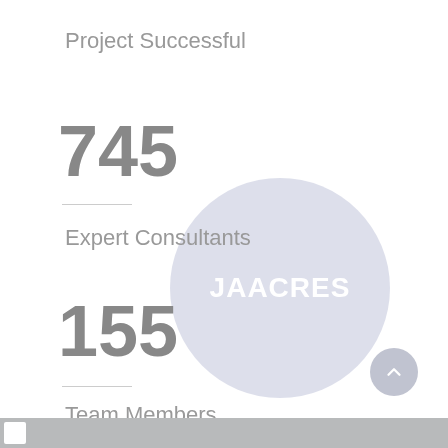Project Successful
745
Expert Consultants
[Figure (illustration): Circular watermark/logo badge with text JAACRES in white on a light purple/lavender semi-transparent circle]
155
Team Members